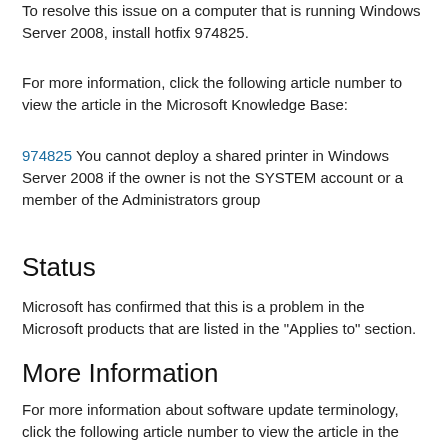To resolve this issue on a computer that is running Windows Server 2008, install hotfix 974825.
For more information, click the following article number to view the article in the Microsoft Knowledge Base:
974825 You cannot deploy a shared printer in Windows Server 2008 if the owner is not the SYSTEM account or a member of the Administrators group
Status
Microsoft has confirmed that this is a problem in the Microsoft products that are listed in the "Applies to" section.
More Information
For more information about software update terminology, click the following article number to view the article in the Microsoft Knowledge Base: